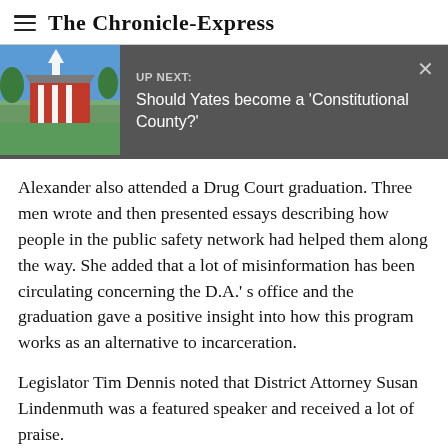The Chronicle-Express
[Figure (screenshot): UP NEXT banner with building photo thumbnail showing 'Should Yates become a Constitutional County?' headline on dark grey background with close button]
Alexander also attended a Drug Court graduation. Three men wrote and then presented essays describing how people in the public safety network had helped them along the way. She added that a lot of misinformation has been circulating concerning the D.A.'s office and the graduation gave a positive insight into how this program works as an alternative to incarceration.
Legislator Tim Dennis noted that District Attorney Susan Lindenmuth was a featured speaker and received a lot of praise.